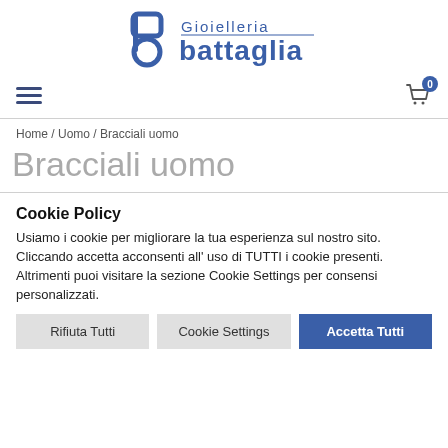[Figure (logo): Gioielleria Battaglia logo with stylized 'b' icon in blue and text 'Gioielleria battaglia' in blue]
[Figure (other): Hamburger menu icon (three horizontal lines) on the left and shopping cart icon with badge '0' on the right]
Home / Uomo / Bracciali uomo
Bracciali uomo
Cookie Policy
Usiamo i cookie per migliorare la tua esperienza sul nostro sito. Cliccando accetta acconsenti all' uso di TUTTI i cookie presenti. Altrimenti puoi visitare la sezione Cookie Settings per consensi personalizzati.
Rifiuta Tutti | Cookie Settings | Accetta Tutti